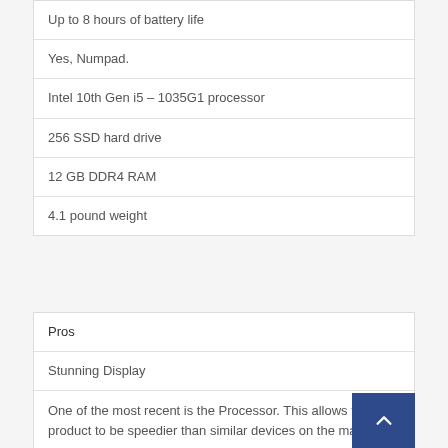| Up to 8 hours of battery life |
| Yes, Numpad. |
| Intel 10th Gen i5 – 1035G1 processor |
| 256 SSD hard drive |
| 12 GB DDR4 RAM |
| 4.1 pound weight |
| Pros |
| Stunning Display |
| One of the most recent is the Processor. This allows the product to be speedier than similar devices on the market. |
| 12 GB RAM and SSD Hard Drive |